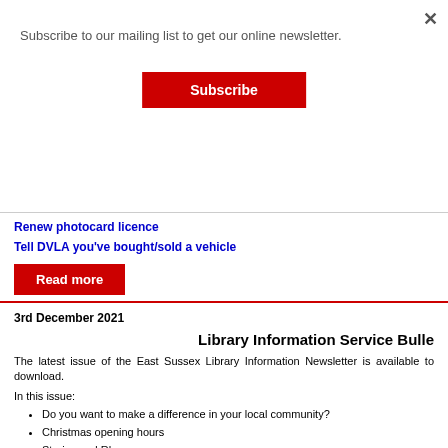Subscribe to our mailing list to get our online newsletter.
Subscribe
Renew photocard licence
Tell DVLA you've bought/sold a vehicle
Read more
3rd December 2021
Library Information Service Bulle
The latest issue of the East Sussex Library Information Newsletter is available to download.
In this issue:
Do you want to make a difference in your local community?
Christmas opening hours
Stories and Rhymes
Comics Plus
Reading Friends
East Sussex Children's Book Award